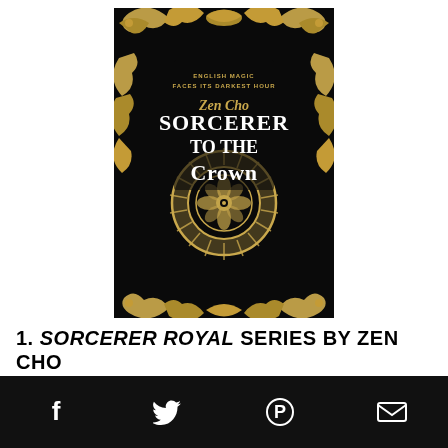[Figure (illustration): Book cover of 'Sorcerer to the Crown' by Zen Cho. Black background with ornate golden baroque swirl patterns and a central mandala/sunburst medallion. Text reads: 'ENGLISH MAGIC FACES ITS DARKEST HOUR / ZEN CHO / SORCERER TO THE CROWN']
1. SORCERER ROYAL SERIES BY ZEN CHO
[Figure (infographic): Dark footer bar with four social media icons: Facebook (f), Twitter (bird), Pinterest (P circle), Email (envelope)]